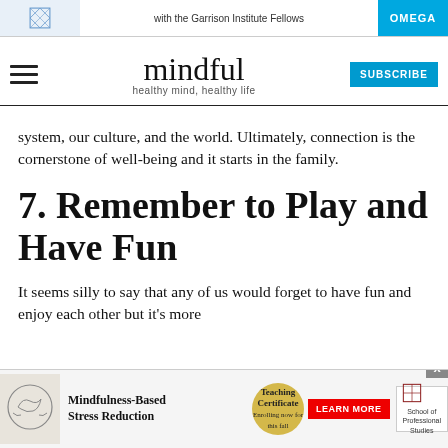mindful — healthy mind, healthy life — with the Garrison Institute Fellows — OMEGA — SUBSCRIBE
system, our culture, and the world. Ultimately, connection is the cornerstone of well-being and it starts in the family.
7. Remember to Play and Have Fun
It seems silly to say that any of us would forget to have fun and enjoy each other but it's more
[Figure (other): Bottom advertisement banner for Mindfulness-Based Stress Reduction Teaching Certificate course, with a golden badge, brain illustration, and a Learn More button alongside a School of Professional Studies logo.]